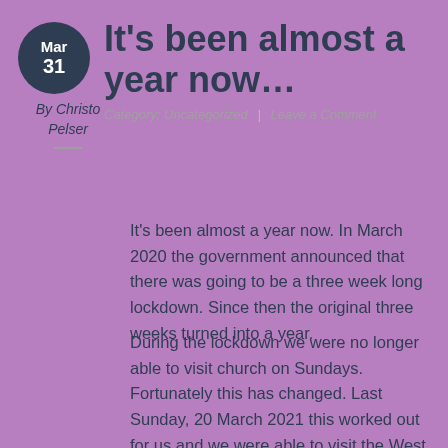It's been almost a year now…
By Christo Pelser
Category: Uncategorized | Leave a Comment
It's been almost a year now. In March 2020 the government announced that there was going to be a three week long lockdown. Since then the original three weeks turned into a year.
During the lockdown we were no longer able to visit church on Sundays. Fortunately this has changed. Last Sunday, 20 March 2021 this worked out for us and we were able to visit the West Rand Biker Church for the first time since the lockdown!